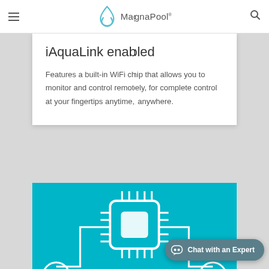MagnaPool
iAquaLink enabled
Features a built-in WiFi chip that allows you to monitor and control remotely, for complete control at your fingertips anytime, anywhere.
[Figure (illustration): Teal background section with white chip/WiFi icon illustration]
Chat with an Expert